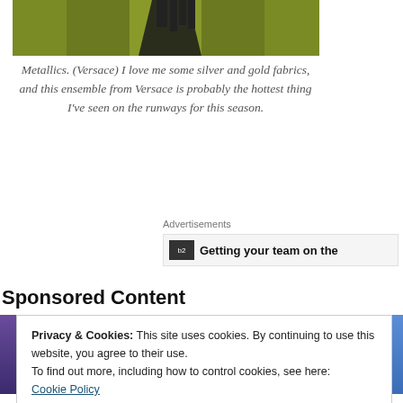[Figure (photo): Partial image of fashion runway shoes on a green/yellow background, cropped at top of page]
Metallics. (Versace) I love me some silver and gold fabrics, and this ensemble from Versace is probably the hottest thing I've seen on the runways for this season.
Advertisements
[Figure (screenshot): Advertisement banner showing a small icon and text: Getting your team on the]
Sponsored Content
Privacy & Cookies: This site uses cookies. By continuing to use this website, you agree to their use.
To find out more, including how to control cookies, see here:
Cookie Policy
Close and accept